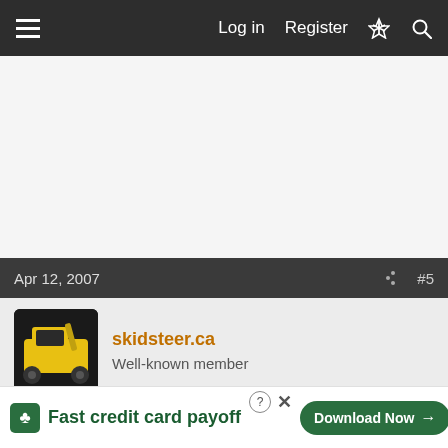Log in  Register
[Figure (screenshot): Advertisement area, light gray background]
Apr 12, 2007   #5
[Figure (photo): Avatar of skidsteer.ca user showing a yellow skid steer loader]
skidsteer.ca
Well-known member
Roozter said: ↑
I've only had it since last Thursday. It has a re-built Puegot and I have put the first 8 hours on it.
So, I m... I do... was gr... colder here, it... on it...
[Figure (screenshot): Tally app advertisement banner: Fast credit card payoff with Download Now button]